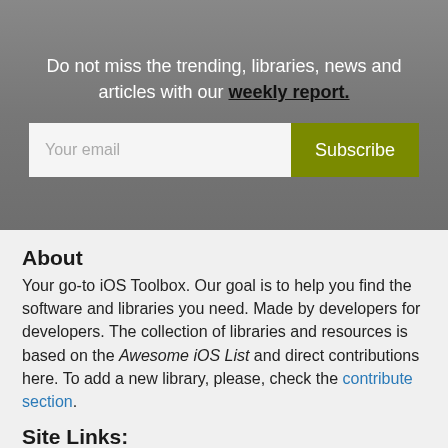Do not miss the trending, libraries, news and articles with our weekly report.
[Figure (other): Email subscription form with text input and Subscribe button]
About
Your go-to iOS Toolbox. Our goal is to help you find the software and libraries you need. Made by developers for developers. The collection of libraries and resources is based on the Awesome iOS List and direct contributions here. To add a new library, please, check the contribute section.
Site Links: